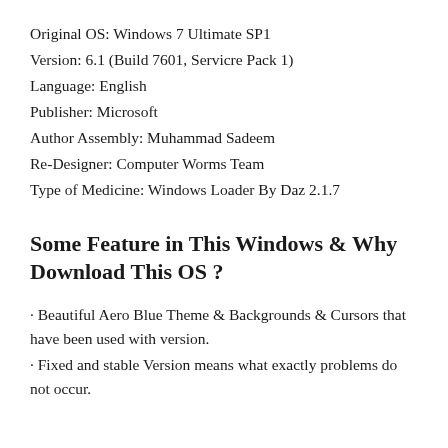Original OS: Windows 7 Ultimate SP1
Version: 6.1 (Build 7601, Servicre Pack 1)
Language: English
Publisher: Microsoft
Author Assembly: Muhammad Sadeem
Re-Designer: Computer Worms Team
Type of Medicine: Windows Loader By Daz 2.1.7
Some Feature in This Windows & Why Download This OS ?
· Beautiful Aero Blue Theme & Backgrounds & Cursors that have been used with version.
· Fixed and stable Version means what exactly problems do not occur.